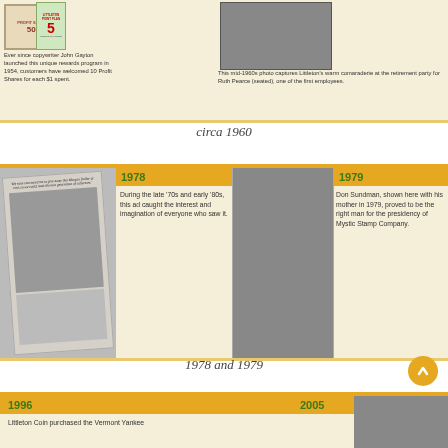[Figure (photo): Top section showing circa 1960 content: profit shares certificate, Littleton Point Plan card, and a mid-1960s retirement party photo for Ruth Pearce]
Ever since copywriter John Gayton launched this unique rewards program in 1954, customers have welcomed 10 Profit Shares for each $1 spent.
This mid-1960s photo captures Littleton's warm comaraderie at the retirement party for Ruth Pearce (seated), one of the first employees.
circa 1960
[Figure (photo): 1978 section: advertisement page with Morgan Dollar promotion quote and family photo; 1979 section: Don Sundman with his mother]
During the late '70s and early '80s, this ad caught the interest and imagination of everyone who saw it.
Don Sundman, shown here with his mother in 1979, proved to be the right man for the presidency of Mystic Stamp Company.
1978 and 1979
[Figure (photo): Bottom section: 1996 and 2005 timeline entries with photo of two men]
Littleton Coin purchased the Vermont Yankee